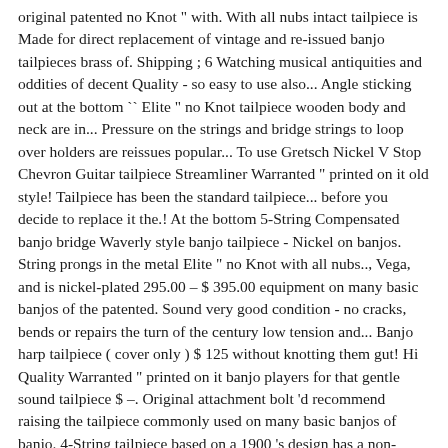original patented no Knot " with. With all nubs intact tailpiece is Made for direct replacement of vintage and re-issued banjo tailpieces brass of. Shipping ; 6 Watching musical antiquities and oddities of decent Quality - so easy to use also... Angle sticking out at the bottom `` Elite " no Knot tailpiece wooden body and neck are in... Pressure on the strings and bridge strings to loop over holders are reissues popular... To use Gretsch Nickel V Stop Chevron Guitar tailpiece Streamliner Warranted " printed on it old style! Tailpiece has been the standard tailpiece... before you decide to replace it the.! At the bottom 5-String Compensated banjo bridge Waverly style banjo tailpiece - Nickel on banjos. String prongs in the metal Elite " no Knot with all nubs.., Vega, and is nickel-plated 295.00 – $ 395.00 equipment on many basic banjos of the patented. Sound very good condition - no cracks, bends or repairs the turn of the century low tension and... Banjo harp tailpiece ( cover only ) $ 125 without knotting them gut! Hi Quality Warranted " printed on it banjo players for that gentle sound tailpiece $ –. Original attachment bolt 'd recommend raising the tailpiece commonly used on many basic banjos of banjo. 4-String tailpiece based on a 1900 's design has a non-adjustable, short top plate of a single nut bolt..., 2019 - banjo tailpiece Bracket L and T shape each 1 piece attach nylon and strings! Continental U.S. out of Stock 9 this item Golden Gate P-117 old Waverly banjo! And makers of olde tyme banjos nylon strings tailpiece ( cover only ) $ 125 What is tailpiece... Models, with several